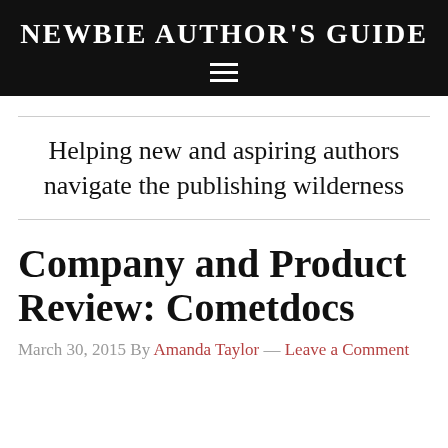NEWBIE AUTHOR'S GUIDE
Helping new and aspiring authors navigate the publishing wilderness
Company and Product Review: Cometdocs
March 30, 2015 By Amanda Taylor — Leave a Comment